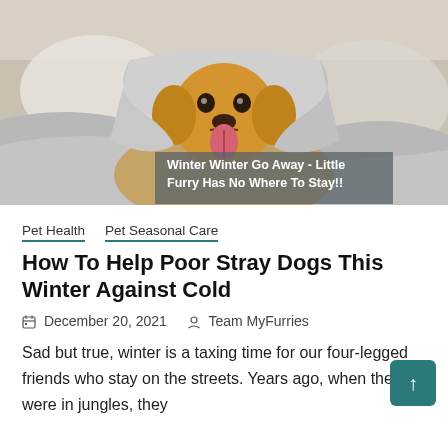[Figure (photo): A golden retriever dog lying on a bed, covered with a light grey blanket draped over its head, with its tongue out. Text overlay reads: Winter Winter Go Away - Little Furry Has No Where To Stay!!]
Winter Winter Go Away - Little Furry Has No Where To Stay!!
Pet Health   Pet Seasonal Care
How To Help Poor Stray Dogs This Winter Against Cold
December 20, 2021   Team MyFurries
Sad but true, winter is a taxing time for our four-legged friends who stay on the streets. Years ago, when they were in jungles, they